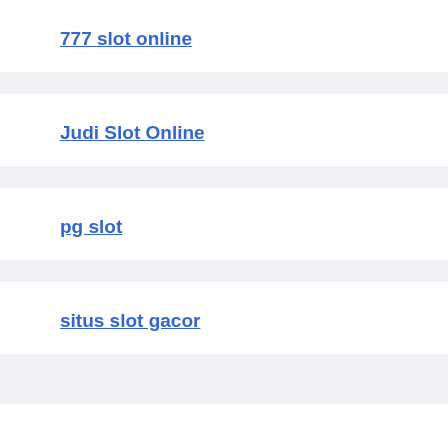777 slot online
Judi Slot Online
pg slot
situs slot gacor